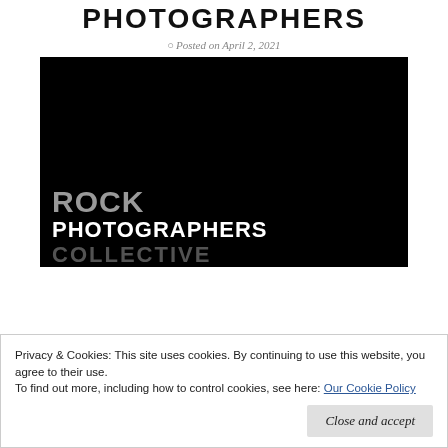PHOTOGRAPHERS
Posted on April 2, 2021
[Figure (photo): Black background image with stacked bold text reading 'ROCK' in gray, 'PHOTOGRAPHERS' in white, and 'COLLECTIVE' in gray/faded — logo of Rock Photographers Collective]
Privacy & Cookies: This site uses cookies. By continuing to use this website, you agree to their use.
To find out more, including how to control cookies, see here: Our Cookie Policy
Close and accept